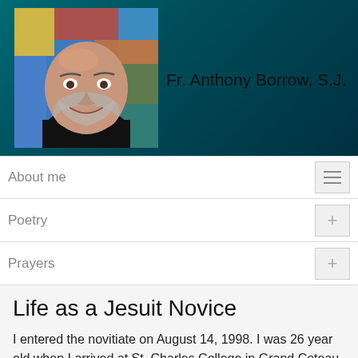[Figure (photo): Headshot photo of Fr. Anthony Borrow, S.J., a smiling middle-aged man with short gray beard wearing a black clerical collar, with colorful stained glass background]
Fr. Anthony Borrow, S.J.
About me
Poetry
Prayers
Recipes
Life as a Jesuit Novice
I entered the novitiate on August 14, 1998. I was 26 year old when I arrived at St. Charles College in Grand Coteau, Louisiana which is in the heart of Acadiana and strongly seasoned by the surrounding Cajun culture. I began